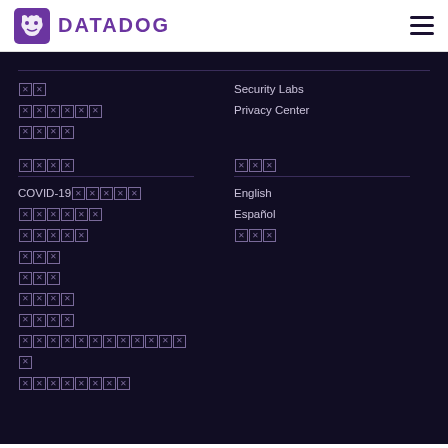DATADOG
[tofu][tofu]
[tofu][tofu][tofu][tofu][tofu][tofu]
[tofu][tofu][tofu][tofu]
Security Labs
Privacy Center
[tofu][tofu][tofu][tofu]
[tofu][tofu][tofu]
COVID-19[tofu][tofu][tofu][tofu][tofu]
[tofu][tofu][tofu][tofu][tofu][tofu]
[tofu][tofu][tofu][tofu][tofu]
[tofu][tofu][tofu]
[tofu][tofu][tofu]
[tofu][tofu][tofu][tofu]
[tofu][tofu][tofu][tofu]
[tofu][tofu][tofu][tofu][tofu][tofu][tofu][tofu][tofu][tofu][tofu][tofu]
[tofu]
[tofu][tofu][tofu][tofu][tofu][tofu][tofu][tofu]
English
Español
[tofu][tofu][tofu]